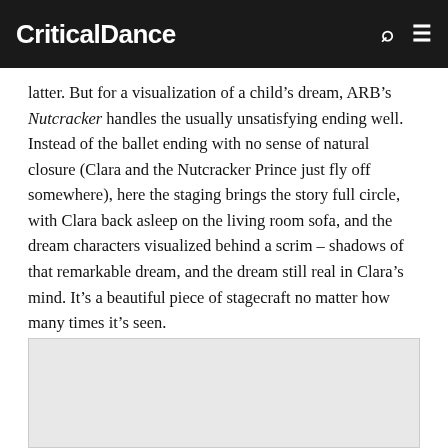CriticalDance
latter. But for a visualization of a child's dream, ARB's Nutcracker handles the usually unsatisfying ending well. Instead of the ballet ending with no sense of natural closure (Clara and the Nutcracker Prince just fly off somewhere), here the staging brings the story full circle, with Clara back asleep on the living room sofa, and the dream characters visualized behind a scrim – shadows of that remarkable dream, and the dream still real in Clara's mind. It's a beautiful piece of stagecraft no matter how many times it's seen.
[Figure (photo): Image placeholder at bottom of page]